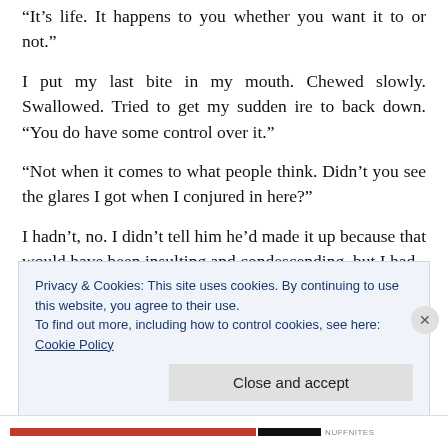“It’s life. It happens to you whether you want it to or not.”
I put my last bite in my mouth. Chewed slowly. Swallowed. Tried to get my sudden ire to back down. “You do have some control over it.”
“Not when it comes to what people think. Didn’t you see the glares I got when I conjured in here?”
I hadn’t, no. I didn’t tell him he’d made it up because that would have been insulting and condescending, but I had
Privacy & Cookies: This site uses cookies. By continuing to use this website, you agree to their use.
To find out more, including how to control cookies, see here: Cookie Policy